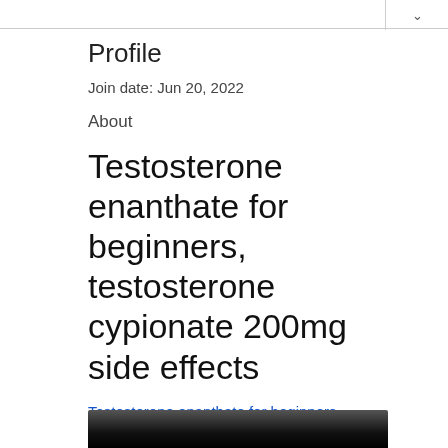Profile
Join date: Jun 20, 2022
About
Testosterone enanthate for beginners, testosterone cypionate 200mg side effects
Testosterone enanthate for beginners, testosterone cypionate 200mg side effects - Legal steroids for sale
[Figure (photo): Bottom portion of an image, dark/black background, partially visible at bottom of page]